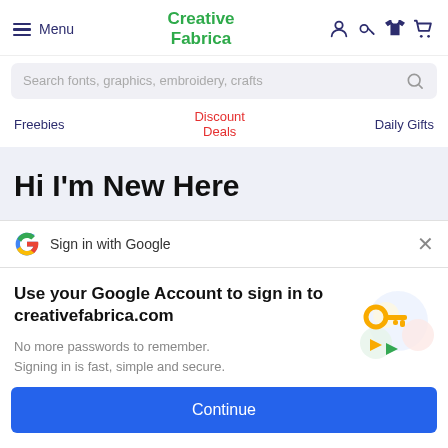Creative Fabrica
Search fonts, graphics, embroidery, crafts
Freebies   Discount Deals   Daily Gifts
Hi I'm New Here
Sign in with Google
Use your Google Account to sign in to creativefabrica.com
No more passwords to remember. Signing in is fast, simple and secure.
Continue